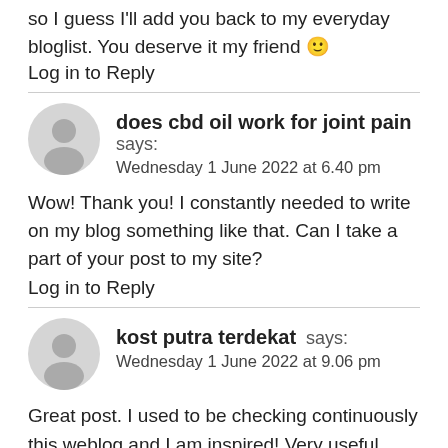so I guess I'll add you back to my everyday bloglist. You deserve it my friend 🙂
Log in to Reply
does cbd oil work for joint pain says:
Wednesday 1 June 2022 at 6.40 pm
Wow! Thank you! I constantly needed to write on my blog something like that. Can I take a part of your post to my site?
Log in to Reply
kost putra terdekat says:
Wednesday 1 June 2022 at 9.06 pm
Great post. I used to be checking continuously this weblog and I am inspired! Very useful information specially the last part 🙂 I handle such info a lot. I used to be seeking this particular information for a very long time. Thank you and good luck.